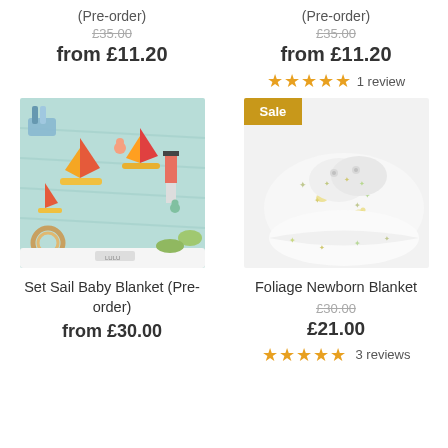(Pre-order)
£35.00 (strikethrough)
from £11.20
(Pre-order)
£35.00 (strikethrough)
from £11.20
★★★★★ 1 review
[Figure (photo): Set Sail Baby Blanket with nautical sailboat print in teal/mint colors]
[Figure (photo): Foliage Newborn Blanket in white with foliage print, shown folded with Sale badge]
Set Sail Baby Blanket (Pre-order)
from £30.00
Foliage Newborn Blanket
£30.00 (strikethrough)
£21.00
★★★★★ 3 reviews